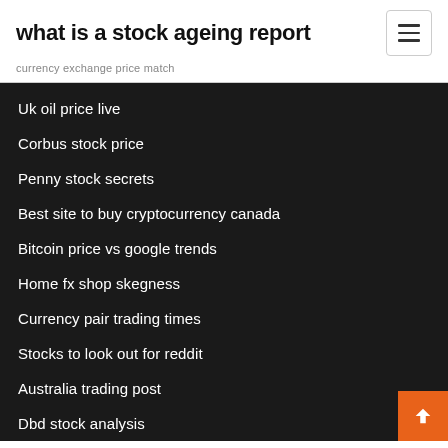what is a stock ageing report
currency exchange price match
Uk oil price live
Corbus stock price
Penny stock secrets
Best site to buy cryptocurrency canada
Bitcoin price vs google trends
Home fx shop skegness
Currency pair trading times
Stocks to look out for reddit
Australia trading post
Dbd stock analysis